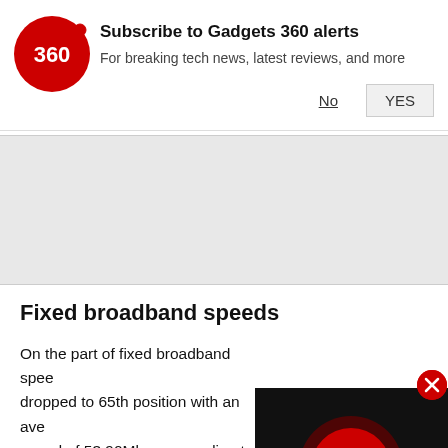[Figure (logo): Gadgets 360 red circle logo with '360' text in white]
Subscribe to Gadgets 360 alerts
For breaking tech news, latest reviews, and more
No
YES
Fixed broadband speeds
On the part of fixed broadband speed dropped to 65th position with an ave speed of 53.90Mbps, according to th Index. The country has also register average upload speed on fixed broa average download speed on fixed broadband in India in November was 52.02Mbps, while its average upload
[Figure (screenshot): Video player overlay with play button on black background]